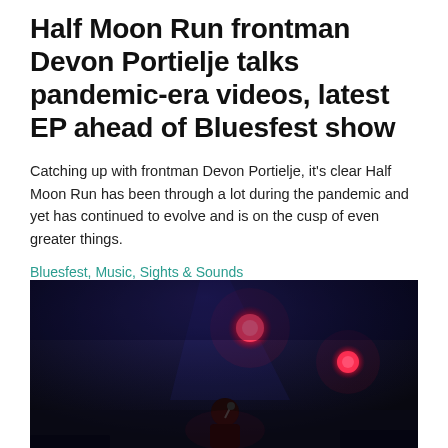Half Moon Run frontman Devon Portielje talks pandemic-era videos, latest EP ahead of Bluesfest show
Catching up with frontman Devon Portielje, it's clear Half Moon Run has been through a lot during the pandemic and yet has continued to evolve and is on the cusp of even greater things.
Bluesfest, Music, Sights & Sounds
[Figure (photo): Concert photo showing a performer on stage with dramatic red stage lighting. Two bright red circular lights are visible in the background against a dark blue-tinted stage atmosphere. A musician is partially visible in the lower portion of the image.]